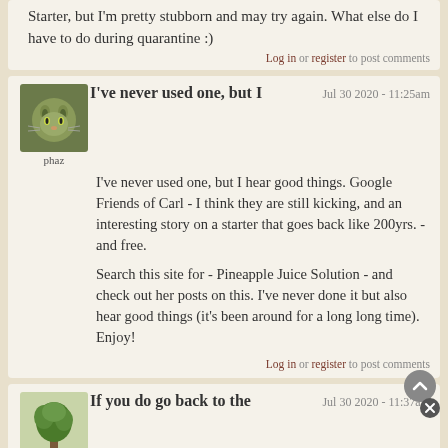Starter, but I'm pretty stubborn and may try again. What else do I have to do during quarantine :)
Log in or register to post comments
I've never used one, but I
Jul 30 2020 - 11:25am
phaz
I've never used one, but I hear good things. Google Friends of Carl - I think they are still kicking, and an interesting story on a starter that goes back like 200yrs. - and free.

Search this site for - Pineapple Juice Solution - and check out her posts on this. I've never done it but also hear good things (it's been around for a long long time). Enjoy!
Log in or register to post comments
If you do go back to the
Jul 30 2020 - 11:37am
Breadifor
If you do go back to the drawing board, you may also want to try making yeast water first. (basically dried fruit--raisins, dates--in sweetened water for a few days until the fruit is fizzing with bubbles). Then do equal parts of this water and